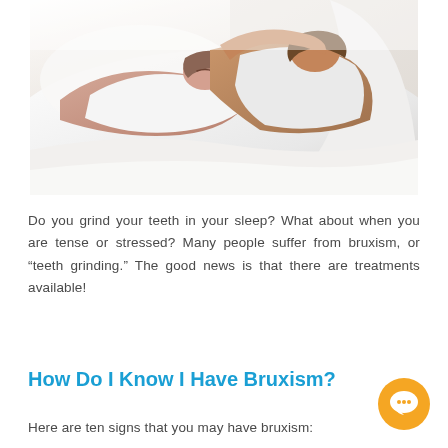[Figure (photo): A couple sleeping in bed, lying on white pillows and sheets. A woman in the foreground rests with her eyes closed, a man behind her also resting.]
Do you grind your teeth in your sleep? What about when you are tense or stressed? Many people suffer from bruxism, or “teeth grinding.” The good news is that there are treatments available!
How Do I Know I Have Bruxism?
Here are ten signs that you may have bruxism: